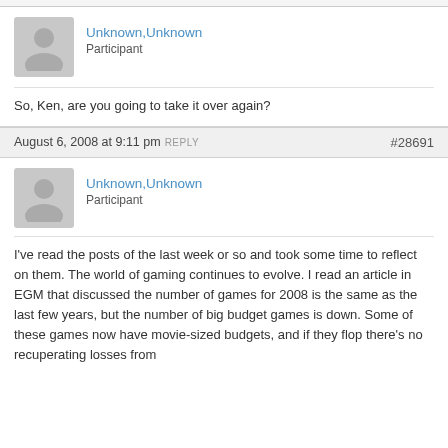Unknown,Unknown
Participant
So, Ken, are you going to take it over again?
August 6, 2008 at 9:11 pm REPLY #28691
Unknown,Unknown
Participant
I've read the posts of the last week or so and took some time to reflect on them. The world of gaming continues to evolve. I read an article in EGM that discussed the number of games for 2008 is the same as the last few years, but the number of big budget games is down. Some of these games now have movie-sized budgets, and if they flop there's no recuperating losses from